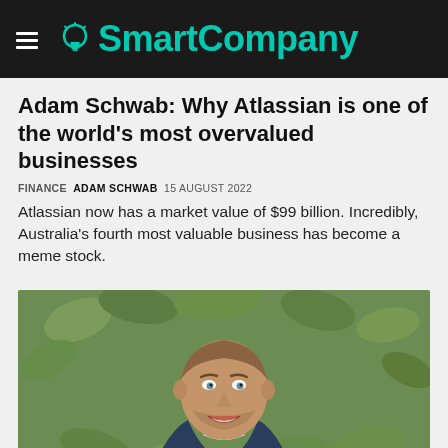SmartCompany
Adam Schwab: Why Atlassian is one of the world's most overvalued businesses
FINANCE  ADAM SCHWAB  15 AUGUST 2022
Atlassian now has a market value of $99 billion. Incredibly, Australia's fourth most valuable business has become a meme stock.
[Figure (photo): Portrait photo of Adam Schwab, a smiling man with short hair and stubble, wearing a dark blue jacket, standing in front of green leafy foliage.]